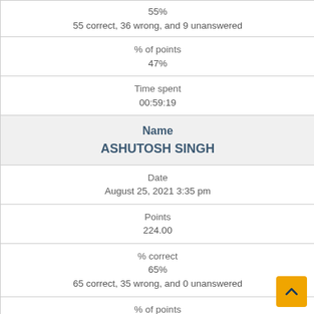| 55% | 55 correct, 36 wrong, and 9 unanswered |
| % of points | 47% |
| Time spent | 00:59:19 |
| Name | ASHUTOSH SINGH |
| Date | August 25, 2021 3:35 pm |
| Points | 224.00 |
| % correct | 65% | 65 correct, 35 wrong, and 0 unanswered |
| % of points | 56% |